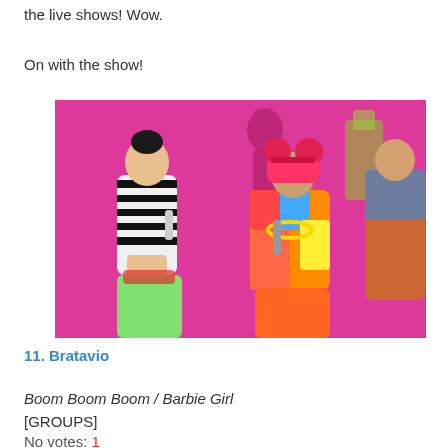the live shows! Wow.
On with the show!
[Figure (photo): Two performers on stage with bright pink/magenta background. Left performer wears black-and-white zebra striped crop top and colorful green pants. Right performer wears colorful outfit with a red Mickey Mouse-style hat. Both hold microphones. A third performer is partially visible on the right.]
11. Bratavio
Boom Boom Boom / Barbie Girl
[GROUPS]
No votes: 1